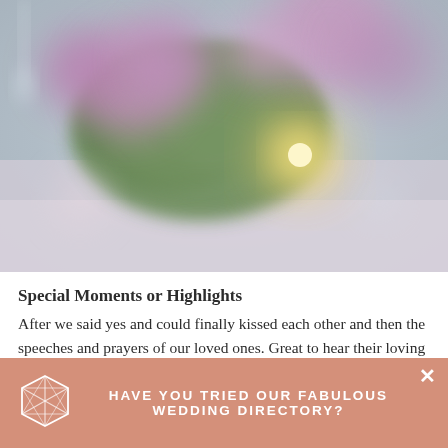[Figure (photo): Blurred close-up photo of a floral arrangement with purple/pink flowers, green leaves, and warm bokeh light in background on a soft grey surface]
Special Moments or Highlights
After we said yes and could finally kissed each other and then the speeches and prayers of our loved ones. Great to hear their loving words and wishes. At the party, when it started to rain, it
HAVE YOU TRIED OUR FABULOUS WEDDING DIRECTORY?